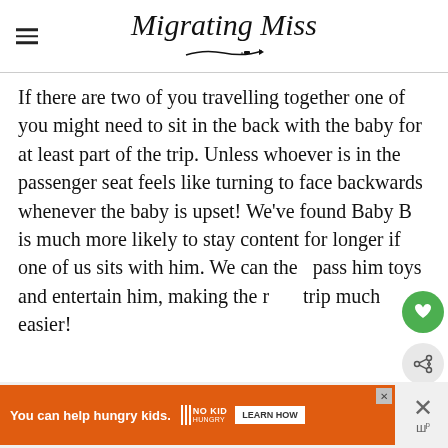Migrating Miss
If there are two of you travelling together one of you might need to sit in the back with the baby for at least part of the trip. Unless whoever is in the passenger seat feels like turning to face backwards whenever the baby is upset! We've found Baby B is much more likely to stay content for longer if one of us sits with him. We can then pass him toys and entertain him, making the road trip much easier!
[Figure (infographic): Advertisement banner: orange background with text 'You can help hungry kids.' with No Kid Hungry logo and a LEARN HOW button]